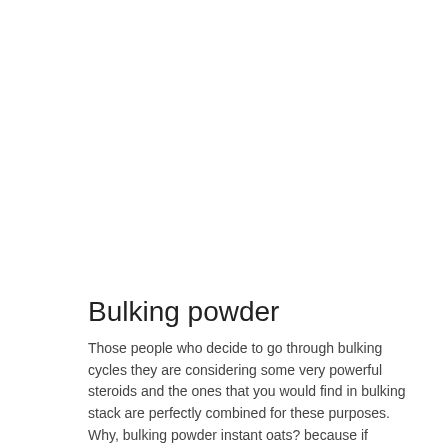Bulking powder
Those people who decide to go through bulking cycles they are considering some very powerful steroids and the ones that you would find in bulking stack are perfectly combined for these purposes.
Why, bulking powder instant oats? because if